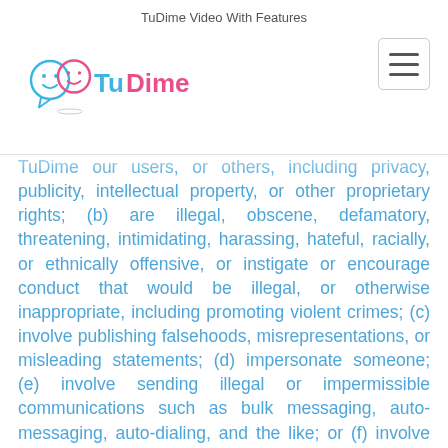TuDime Video With Features
[Figure (logo): TuDime logo with two cartoon face icons (one blue, one pink) and 'TuDime' text in blue and pink]
TuDime our users, or others, including privacy, publicity, intellectual property, or other proprietary rights; (b) are illegal, obscene, defamatory, threatening, intimidating, harassing, hateful, racially, or ethnically offensive, or instigate or encourage conduct that would be illegal, or otherwise inappropriate, including promoting violent crimes; (c) involve publishing falsehoods, misrepresentations, or misleading statements; (d) impersonate someone; (e) involve sending illegal or impermissible communications such as bulk messaging, auto-messaging, auto-dialing, and the like; or (f) involve any non-personal use of our Services unless otherwise authorized by us.